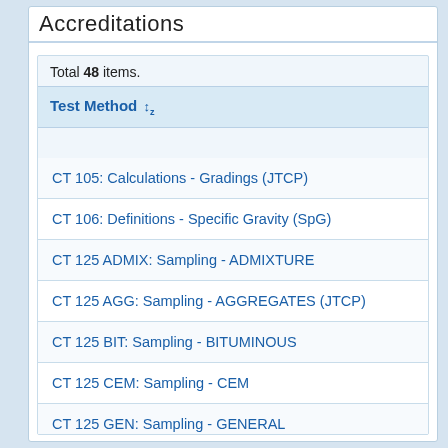Accreditations
Total 48 items.
Test Method ↕
CT 105: Calculations - Gradings (JTCP)
CT 106: Definitions - Specific Gravity (SpG)
CT 125 ADMIX: Sampling - ADMIXTURE
CT 125 AGG: Sampling - AGGREGATES (JTCP)
CT 125 BIT: Sampling - BITUMINOUS
CT 125 CEM: Sampling - CEM
CT 125 GEN: Sampling - GENERAL
CT 125 HMA: Sampling - HMA (JTCP)
CT 201: Sample Preparation - Soil and Aggregates (